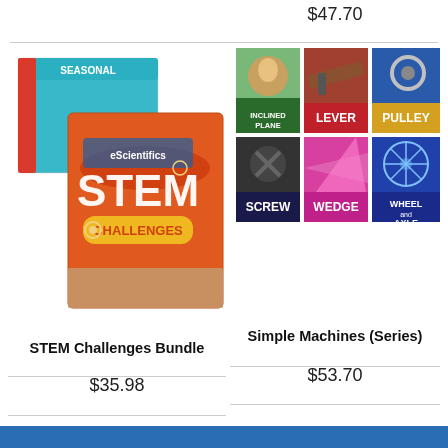$47.70
[Figure (photo): STEM Challenges Bundle product box — orange and teal seasonal STEM Challenges kit boxes]
STEM Challenges Bundle
$35.98
[Figure (photo): Simple Machines series book covers showing Inclined Plane, Lever, Pulley, Screw, Wedge, Wheel and Axle]
Simple Machines (Series)
$53.70